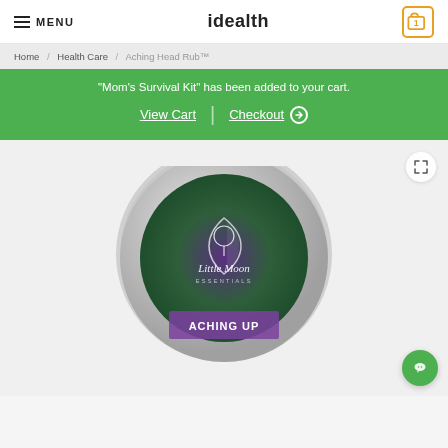MENU   idealth   [cart: 1]
Home / Health Care / Aching Head Rub™
"Mom's Survival Kit" has been added to your cart.   View Cart  |  Checkout ⊕
[Figure (photo): Little Moon Essentials Aching Head Rub product tin with purple-green gradient label, silver metallic lid, viewed from above at slight angle. Product name 'ACHING UP' partially visible at bottom.]